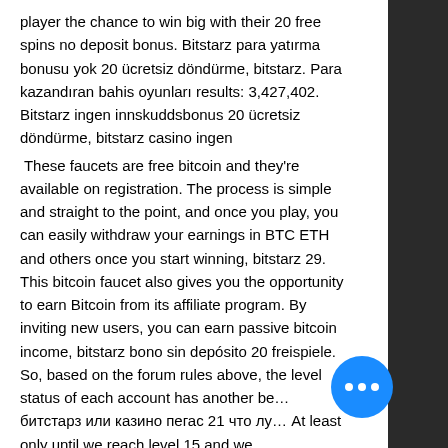player the chance to win big with their 20 free spins no deposit bonus. Bitstarz para yatırma bonusu yok 20 ücretsiz döndürme, bitstarz. Para kazandıran bahis oyunları results: 3,427,402. Bitstarz ingen innskuddsbonus 20 ücretsiz döndürme, bitstarz casino ingen
These faucets are free bitcoin and they're available on registration. The process is simple and straight to the point, and once you play, you can easily withdraw your earnings in BTC ETH and others once you start winning, bitstarz 29. This bitcoin faucet also gives you the opportunity to earn Bitcoin from its affiliate program. By inviting new users, you can earn passive bitcoin income, bitstarz bono sin depósito 20 freispiele. So, based on the forum rules above, the level status of each account has another be... битстарз или казино пегас 21 что лу... At least only until we reach level 15 and we